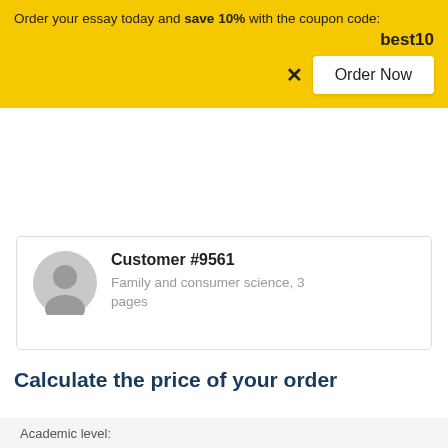Order your essay today and save 10% with the coupon code: best10
Order Now
Customer #9561
Family and consumer science, 3 pages
Calculate the price of your order
Type of paper needed:
Academic level: